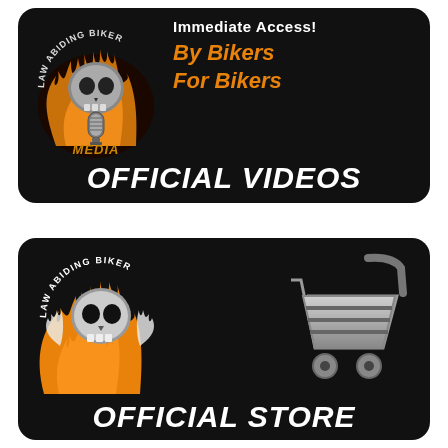[Figure (logo): Law Abiding Biker Media logo banner — black rounded rectangle with skull/microphone/flames logo on left, white text 'Immediate Access!' and orange italic 'By Bikers For Bikers', white bold italic 'OFFICIAL VIDEOS' at bottom]
[Figure (logo): Law Abiding Biker store banner — black rounded rectangle with skull/flames logo on left, silver shopping cart icon on right, white bold italic 'OFFICIAL STORE' at bottom]